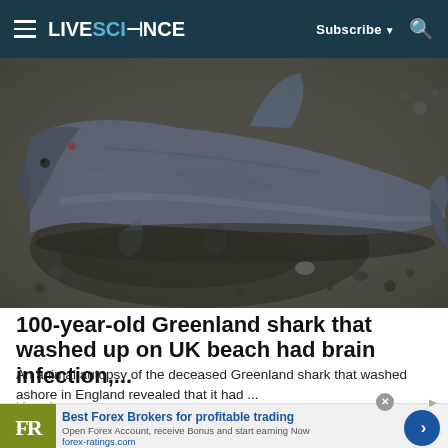LIVESCIENCE — Subscribe ▼ 🔍
[Figure (photo): A large dead Greenland shark lying on dark wet sand on a beach, photographed from above. The shark has a dark grey-blue body with a prominent dorsal fin.]
100-year-old Greenland shark that washed up on UK beach had brain infection,...
An animal autopsy of the deceased Greenland shark that washed ashore in England revealed that it had ...
Livescience
[Figure (infographic): Advertisement banner: FR logo (olive/green background with white FR letters), headline 'Best Forex Brokers for profitable trading', subtext 'Open Forex Account, receive Bonus and start earning Now', domain 'forex-ratings.com', blue circular arrow button on right.]